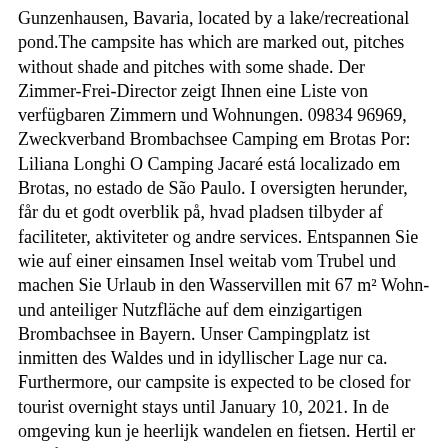Gunzenhausen, Bavaria, located by a lake/recreational pond.The campsite has which are marked out, pitches without shade and pitches with some shade. Der Zimmer-Frei-Director zeigt Ihnen eine Liste von verfügbaren Zimmern und Wohnungen. 09834 96969, Zweckverband Brombachsee Camping em Brotas Por: Liliana Longhi O Camping Jacaré está localizado em Brotas, no estado de São Paulo. I oversigten herunder, får du et godt overblik på, hvad pladsen tilbyder af faciliteter, aktiviteter og andre services. Entspannen Sie wie auf einer einsamen Insel weitab vom Trubel und machen Sie Urlaub in den Wasservillen mit 67 m² Wohn- und anteiliger Nutzfläche auf dem einzigartigen Brombachsee in Bayern. Unser Campingplatz ist inmitten des Waldes und in idyllischer Lage nur ca. Furthermore, our campsite is expected to be closed for tourist overnight stays until January 10, 2021. In de omgeving kun je heerlijk wandelen en fietsen. Hertil er der så 0 andre udlejningsenheder. Herzlich willkommen auf dem Camping Waldsee – der komfortablen Naturoase im Fränkischen Seenland. Oder drei. At the square and in the surrounding area there is a lot to discover all